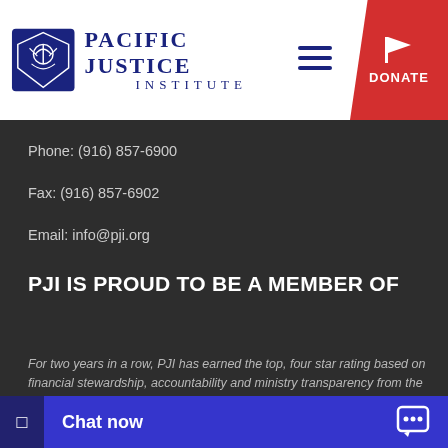Pacific Justice Institute
Phone: (916) 857-6900
Fax: (916) 857-6902
Email: info@pji.org
PJI IS PROUD TO BE A MEMBER OF
For two years in a row, PJI has earned the top, four star rating based on financial stewardship, accountability and ministry transparency from the nation's premiere charity assessment organization, Charity Navigator. More of your PJI donation goes directly to the work of the ministry in America.